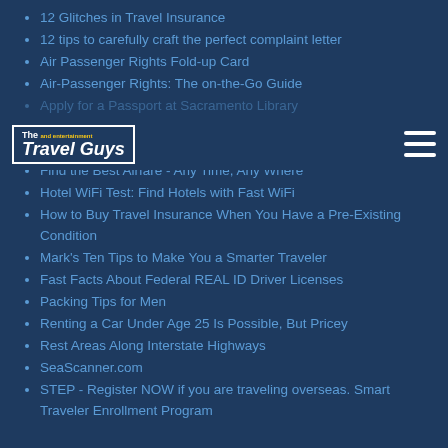12 Glitches in Travel Insurance
12 tips to carefully craft the perfect complaint letter
Air Passenger Rights Fold-up Card
Air-Passenger Rights: The on-the-Go Guide
Apply for a Passport at Sacramento Library
... To Prevent Travel Disasters
ConsumerSense.org
Find the Best Airfare - Any Time, Any Where
Hotel WiFi Test: Find Hotels with Fast WiFi
How to Buy Travel Insurance When You Have a Pre-Existing Condition
Mark's Ten Tips to Make You a Smarter Traveler
Fast Facts About Federal REAL ID Driver Licenses
Packing Tips for Men
Renting a Car Under Age 25 Is Possible, But Pricey
Rest Areas Along Interstate Highways
SeaScanner.com
STEP - Register NOW if you are traveling overseas. Smart Traveler Enrollment Program